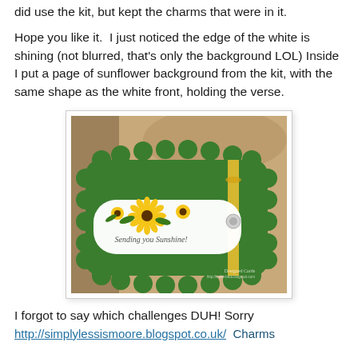did use the kit, but kept the charms that were in it.
Hope you like it.  I just noticed the edge of the white is shining (not blurred, that's only the background LOL) Inside I put a page of sunflower background from the kit, with the same shape as the white front, holding the verse.
[Figure (photo): A handmade greeting card on a green scalloped background with a white rounded-rectangle label featuring sunflowers and the text 'Sending you Sunshine!' with a yellow ribbon and charm.]
I forgot to say which challenges DUH! Sorry
http://simplylessismoore.blogspot.co.uk/  Charms